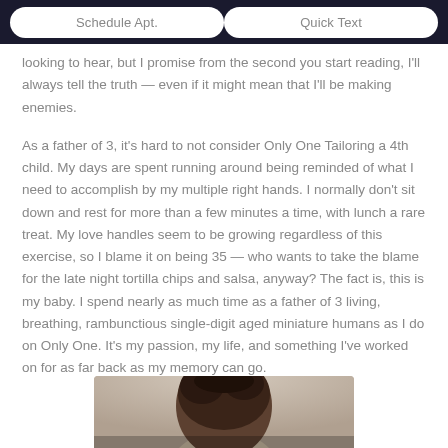Schedule Apt.   Quick Text
looking to hear, but I promise from the second you start reading, I'll always tell the truth — even if it might mean that I'll be making enemies.
As a father of 3, it's hard to not consider Only One Tailoring a 4th child. My days are spent running around being reminded of what I need to accomplish by my multiple right hands. I normally don't sit down and rest for more than a few minutes a time, with lunch a rare treat. My love handles seem to be growing regardless of this exercise, so I blame it on being 35 — who wants to take the blame for the late night tortilla chips and salsa, anyway? The fact is, this is my baby. I spend nearly as much time as a father of 3 living, breathing, rambunctious single-digit aged miniature humans as I do on Only One. It's my passion, my life, and something I've worked on for as far back as my memory can go.
[Figure (photo): Partial photo of a person's head/hair visible at the bottom of the page, cropped, showing dark hair against a light background.]